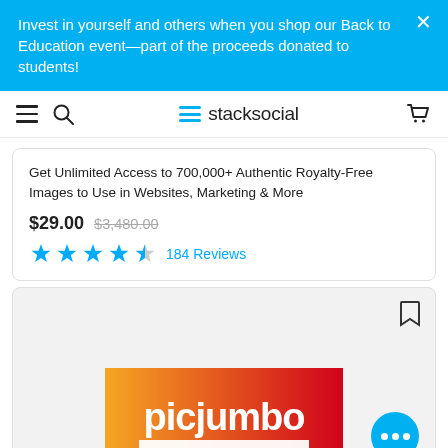Invest in yourself and others when you shop our Back to Education event—part of the proceeds donated to students!
[Figure (logo): StackSocial navigation bar with hamburger menu, search icon, StackSocial logo, and cart icon]
Get Unlimited Access to 700,000+ Authentic Royalty-Free Images to Use in Websites, Marketing & More
$29.00  $3,480.00  ★★★★☆  184 Reviews
[Figure (logo): picjumbo PREMIUM logo on orange-to-red gradient background]